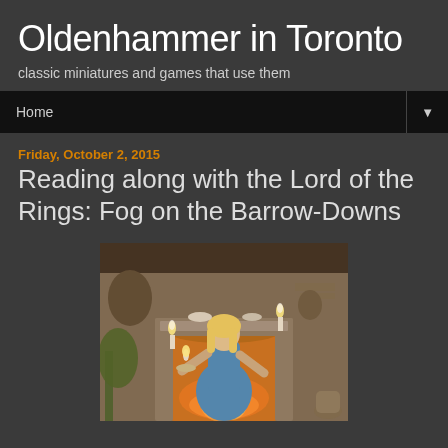Oldenhammer in Toronto
classic miniatures and games that use them
Home ▼
Friday, October 2, 2015
Reading along with the Lord of the Rings: Fog on the Barrow-Downs
[Figure (illustration): Fantasy illustration of a young woman in a blue dress holding a candle on a tray, standing in front of a stone fireplace in a tavern-like interior. Candlelight illuminates the scene with warm tones.]